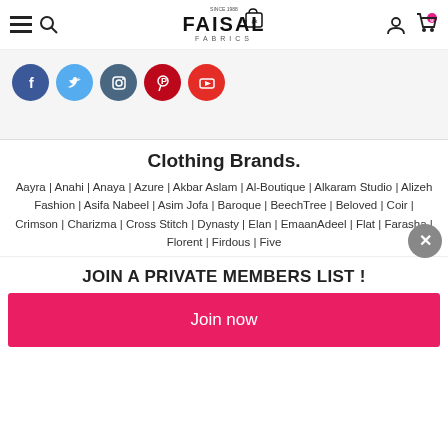Faisal Fabrics — navigation header with hamburger menu, search, logo, user icon, and cart (0)
[Figure (logo): Faisal Fabrics logo with shopping bag icon and '.pk' domain, text 'SINCE 1988' above, 'FABRICS' below]
[Figure (infographic): Social media icons: Facebook (blue), Twitter (light blue), Instagram (slate), Pinterest (red), YouTube (red)]
Clothing Brands.
Aayra | Anahi | Anaya | Azure | Akbar Aslam | Al-Boutique | Alkaram Studio | Alizeh Fashion | Asifa Nabeel | Asim Jofa | Baroque | BeechTree | Beloved | Coir | Crimson | Charizma | Cross Stitch | Dynasty | Elan | EmaanAdeel | Flat | Farasha | Florent | Firdous | Five
JOIN A PRIVATE MEMBERS LIST !
Join now